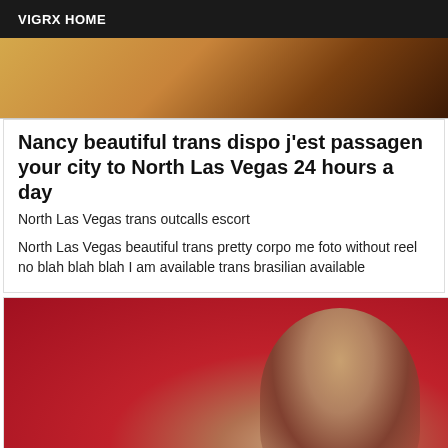VIGRX HOME
[Figure (photo): Partial photo showing warm-toned background, top portion of image cropped]
Nancy beautiful trans dispo j'est passagen your city to North Las Vegas 24 hours a day
North Las Vegas trans outcalls escort
North Las Vegas beautiful trans pretty corpo me foto without reel no blah blah blah I am available trans brasilian available
[Figure (photo): Photo of a woman with dark hair against a red background]